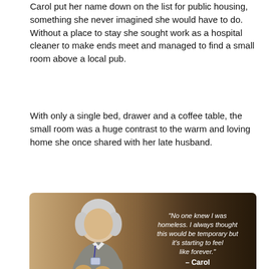Carol put her name down on the list for public housing, something she never imagined she would have to do. Without a place to stay she sought work as a hospital cleaner to make ends meet and managed to find a small room above a local pub.
With only a single bed, drawer and a coffee table, the small room was a huge contrast to the warm and loving home she once shared with her late husband.
[Figure (photo): Photo of an older woman with short grey/white hair, wearing a grey cardigan and a lanyard with an ID badge, holding something to her chest. Over the right portion of the image is a white italic quote: “No one knew I was homeless. I always thought this would be temporary but it’s starting to feel like forever.” – Carol]
One week at the pub quickly turned into months and what was meant to be a short-term solution was starting to feel permanent. Each night as she tried to sleep through the loud sounds from the pub downstairs